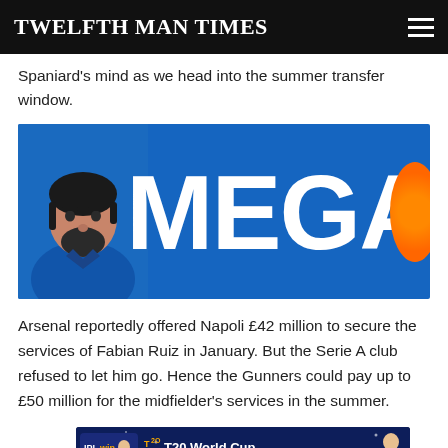TWELFTH MAN TIMES
Spaniard's mind as we head into the summer transfer window.
[Figure (photo): Blue banner advertisement showing a man with a beard on the left side and large white text 'MEGA' on the right against a blue background with orange accent]
Arsenal reportedly offered Napoli £42 million to secure the services of Fabian Ruiz in January. But the Serie A club refused to let him go. Hence the Gunners could pay up to £50 million for the midfielder's services in the summer.
[Figure (photo): IPLwin T20 World Cup Official Betting Site advertisement banner with Join Now button]
Arsen... 's'